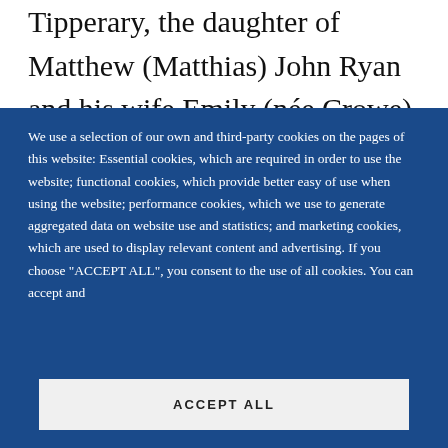Tipperary, the daughter of Matthew (Matthias) John Ryan and his wife Emily (née Crowe). Religious tension between her catholic father and anglo–
We use a selection of our own and third-party cookies on the pages of this website: Essential cookies, which are required in order to use the website; functional cookies, which provide better easy of use when using the website; performance cookies, which we use to generate aggregated data on website use and statistics; and marketing cookies, which are used to display relevant content and advertising. If you choose "ACCEPT ALL", you consent to the use of all cookies. You can accept and
ACCEPT ALL